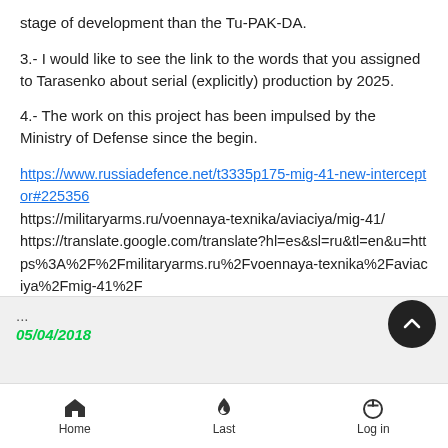stage of development than the Tu-PAK-DA.
3.- I would like to see the link to the words that you assigned to Tarasenko about serial (explicitly) production by 2025.
4.- The work on this project has been impulsed by the Ministry of Defense since the begin.
https://www.russiadefence.net/t3335p175-mig-41-new-interceptor#225356
https://militaryarms.ru/voennaya-texnika/aviaciya/mig-41/
https://translate.google.com/translate?hl=es&sl=ru&tl=en&u=https%3A%2F%2Fmilitaryarms.ru%2Fvoennaya-texnika%2Faviaciya%2Fmig-41%2F
...
05/04/2018